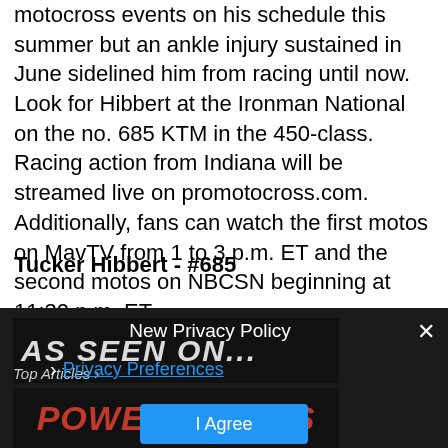motocross events on his schedule this summer but an ankle injury sustained in June sidelined him from racing until now. Look for Hibbert at the Ironman National on the no. 685 KTM in the 450-class. Racing action from Indiana will be streamed live on promotocross.com. Additionally, fans can watch the first motos on MavTV from 1 to 3 p.m. ET and the second motos on NBCSN beginning at 11:30 p.m. ET.
Tucker Hibbert - #685
New Privacy Policy
Privacy Preferences
[Figure (screenshot): AS SEEN ON... banner image with dark background and Top Articles text]
[Figure (logo): POWERSPORTS BUSINESS logo in red italic text]
I Agree